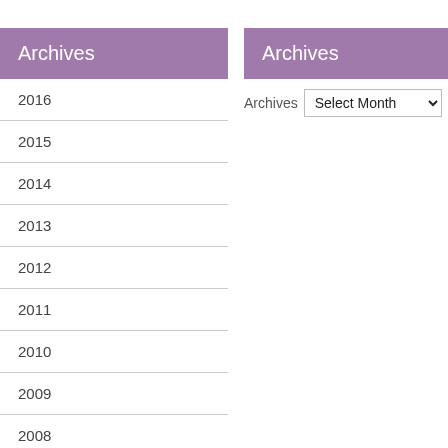Archives
2016
2015
2014
2013
2012
2011
2010
2009
2008
Archives
Archives  Select Month